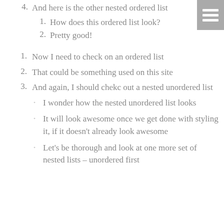4. And here is the other nested ordered list
1. How does this ordered list look?
2. Pretty good!
1. Now I need to check on an ordered list
2. That could be something used on this site
3. And again, I should chekc out a nested unordered list
I wonder how the nested unordered list looks
It will look awesome once we get done with styling it, if it doesn't already look awesome
Let's be thorough and look at one more set of nested lists – unordered first